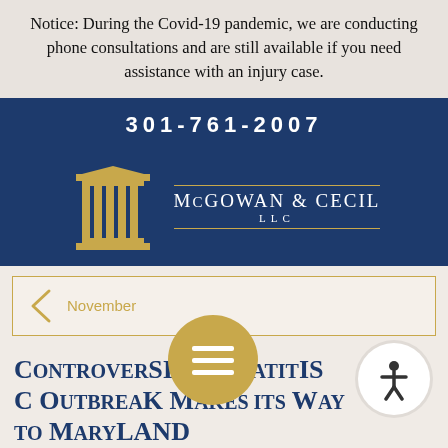Notice: During the Covid-19 pandemic, we are conducting phone consultations and are still available if you need assistance with an injury case.
301-761-2007
[Figure (logo): McGowan & Cecil LLC law firm logo with gold pillar icon and firm name in white text on dark blue background with gold decorative lines]
November
Controversial Hepatitis C Outbreak Makes Its Way to Maryland